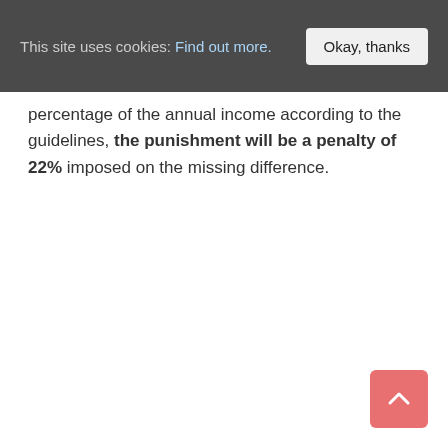This site uses cookies: Find out more. | Okay, thanks
percentage of the annual income according to the guidelines, the punishment will be a penalty of 22% imposed on the missing difference.